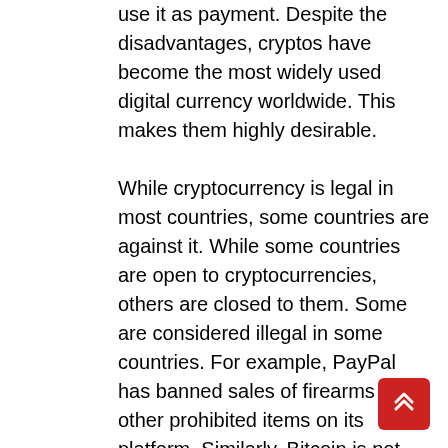use it as payment. Despite the disadvantages, cryptos have become the most widely used digital currency worldwide. This makes them highly desirable.
While cryptocurrency is legal in most countries, some countries are against it. While some countries are open to cryptocurrencies, others are closed to them. Some are considered illegal in some countries. For example, PayPal has banned sales of firearms and other prohibited items on its platform. Similarly, Bitcoin is not legal in all places. Some of the best cryptocurrency exchanges have a reputation for high quality customer service. If you're looking for an exchange in a developing country, make sure to read reviews of the company.
There are many advantages to crypto. Some of